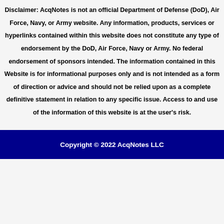Disclaimer: AcqNotes is not an official Department of Defense (DoD), Air Force, Navy, or Army website. Any information, products, services or hyperlinks contained within this website does not constitute any type of endorsement by the DoD, Air Force, Navy or Army. No federal endorsement of sponsors intended. The information contained in this Website is for informational purposes only and is not intended as a form of direction or advice and should not be relied upon as a complete definitive statement in relation to any specific issue. Access to and use of the information of this website is at the user's risk.
Copyright © 2022 AcqNotes LLC